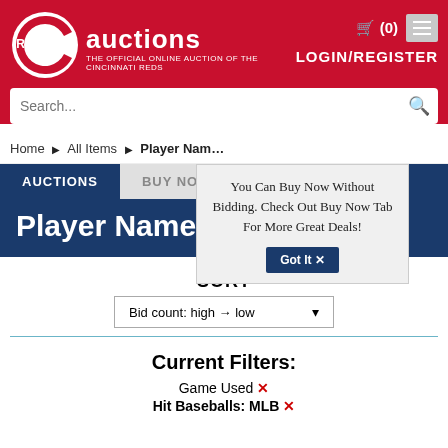[Figure (screenshot): Reds Auctions website header with red background, Reds C logo, auctions text, cart icon, login/register link, menu button, and search bar]
Home ▶ All Items ▶ Player Nam…
AUCTIONS
BUY NOW
Player Name
You Can Buy Now Without Bidding. Check Out Buy Now Tab For More Great Deals!
Got It ✕
SORT
Bid count: high → low
Current Filters:
Game Used ✕
Hit Baseballs: MLB ✕